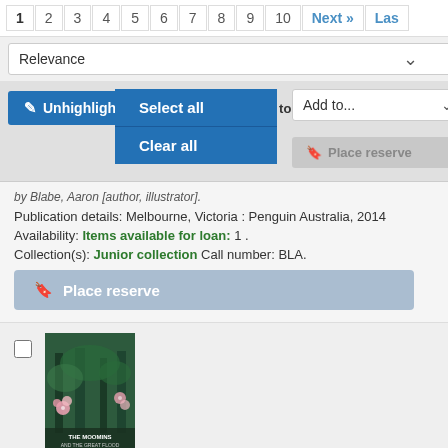1 2 3 4 5 6 7 8 9 10 Next » Las
Relevance
Unhighlight | | Select titles to:
Select all
Clear all
Add to...  Save
Place reserve
by Blabe, Aaron [author, illustrator].
Publication details: Melbourne, Victoria : Penguin Australia, 2014
Availability: Items available for loan: 1 .
Collection(s): Junior collection Call number: BLA.
Place reserve
[Figure (illustration): Book cover for The Moomins and the Great Flood, showing a dark green forest scene with flowers]